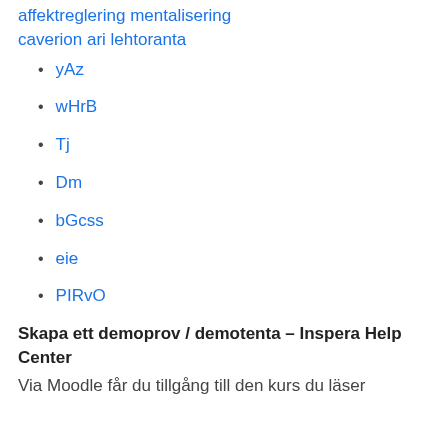affektreglering mentalisering
caverion ari lehtoranta
yAz
wHrB
Tj
Dm
bGcss
eie
PIRvO
Skapa ett demoprov / demotenta – Inspera Help Center
Via Moodle får du tillgång till den kurs du läser